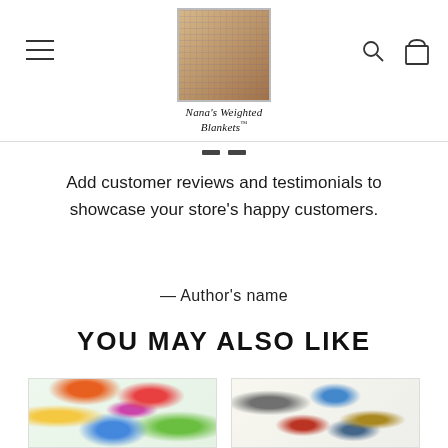[Figure (logo): Nana's Weighted Blankets logo with decorative quilt image and script text]
Add customer reviews and testimonials to showcase your store's happy customers.
— Author's name
YOU MAY ALSO LIKE
[Figure (photo): Fabric with colorful butterfly and floral print]
[Figure (photo): Fabric with cartoon robot characters print]